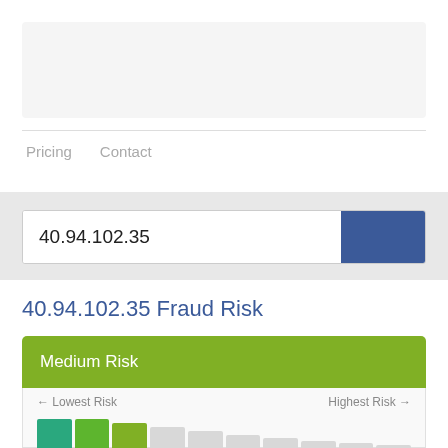[Figure (screenshot): Top gray placeholder box representing a header/banner area of a website]
Pricing   Contact
40.94.102.35
40.94.102.35 Fraud Risk
Medium Risk
← Lowest Risk    Highest Risk →
[Figure (bar-chart): Risk scale bar chart with colored bars from teal/green on the left (lower risk) tapering to light gray on the right (higher risk), indicating Medium Risk rating for IP 40.94.102.35]